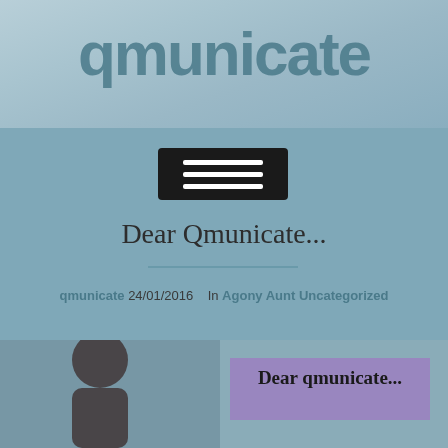qmunicate
[Figure (screenshot): Navigation hamburger menu button (dark background with three white horizontal lines)]
Dear Qmunicate...
24/01/2016  In Agony Aunt Uncategorized
[Figure (photo): Bottom image showing a person with dark hair against a floral background, with a purple/lavender box overlay containing the text 'Dear qmunicate...']